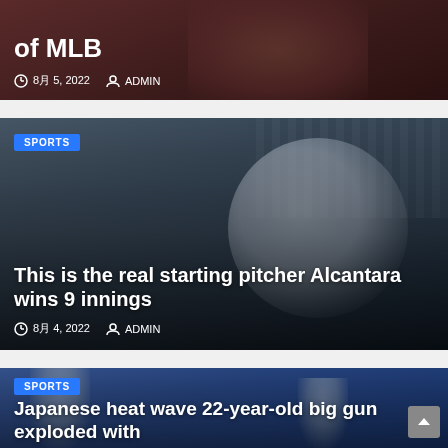[Figure (photo): Partial card at top showing 'of MLB' title text with a baseball player photo in dark reddish background, date 8月5, 2022 and ADMIN author]
[Figure (photo): Sports news card showing Miami Marlins pitcher Alcantara in white uniform winding up to pitch, stadium seating in background. SPORTS badge, title 'This is the real starting pitcher Alcantara wins 9 innings', date 8月4, 2022, ADMIN]
[Figure (photo): Sports news card partially visible at bottom showing baseball players, blue stadium background. SPORTS badge, title 'Japanese heat wave 22-year-old big gun exploded with']